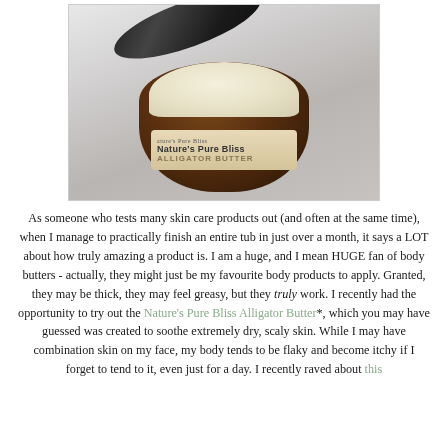[Figure (photo): An open amber glass jar of Nature's Pure Bliss Alligator Butter body butter, with the black lid resting behind it. The cream inside is pale yellow/white. The jar label is tan/beige with the brand name and product name visible.]
As someone who tests many skin care products out (and often at the same time), when I manage to practically finish an entire tub in just over a month, it says a LOT about how truly amazing a product is. I am a huge, and I mean HUGE fan of body butters - actually, they might just be my favourite body products to apply. Granted, they may be thick, they may feel greasy, but they truly work. I recently had the opportunity to try out the Nature's Pure Bliss Alligator Butter*, which you may have guessed was created to soothe extremely dry, scaly skin. While I may have combination skin on my face, my body tends to be flaky and become itchy if I forget to tend to it, even just for a day. I recently raved about this